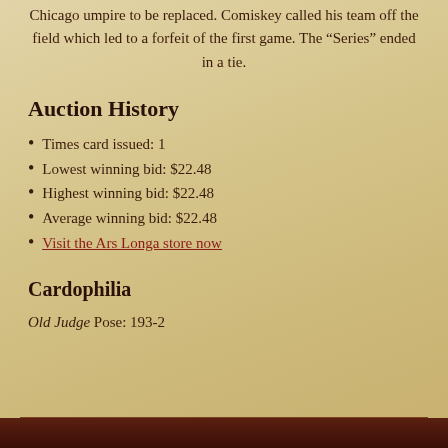Chicago umpire to be replaced. Comiskey called his team off the field which led to a forfeit of the first game. The “Series” ended in a tie.
Auction History
Times card issued: 1
Lowest winning bid: $22.48
Highest winning bid: $22.48
Average winning bid: $22.48
Visit the Ars Longa store now
Cardophilia
Old Judge Pose: 193-2